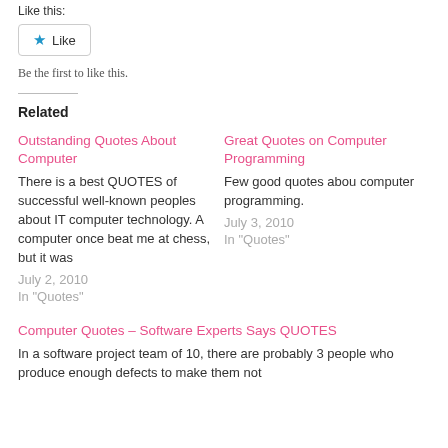Like this:
[Figure (other): Like button with blue star icon and 'Like' text, bordered button]
Be the first to like this.
Related
Outstanding Quotes About Computer
There is a best QUOTES of successful well-known peoples about IT computer technology. A computer once beat me at chess, but it was
July 2, 2010
In "Quotes"
Great Quotes on Computer Programming
Few good quotes abou computer programming.
July 3, 2010
In "Quotes"
Computer Quotes – Software Experts Says QUOTES
In a software project team of 10, there are probably 3 people who produce enough defects to make them not